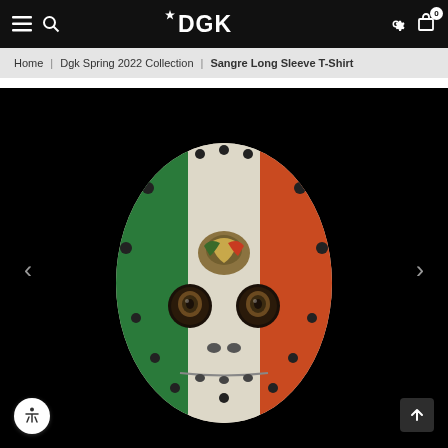DGK (navigation bar with hamburger menu, search, logo, settings, cart)
Home | Dgk Spring 2022 Collection | Sangre Long Sleeve T-Shirt
[Figure (photo): A hockey-style mask painted with the Mexican flag colors (green, white, orange/red) and the Mexican coat of arms eagle emblem in the center, photographed against a black background. The mask has dark eye holes with painted eyes visible inside, and multiple bolt/rivet details around the edges.]